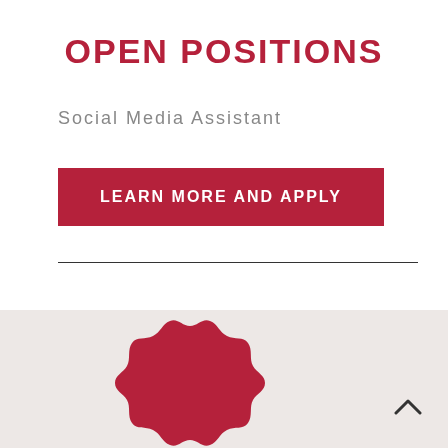OPEN POSITIONS
Social Media Assistant
LEARN MORE AND APPLY
[Figure (illustration): A decorative crimson/dark red badge or seal shape, partially visible at the bottom of the page on a light beige background section.]